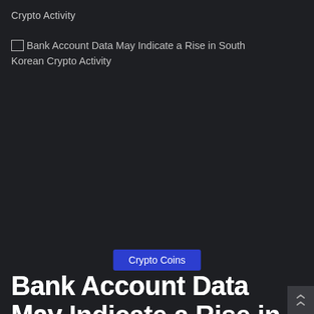Crypto Activity
[Figure (other): Broken image placeholder with alt text: Bank Account Data May Indicate a Rise in South Korean Crypto Activity]
Crypto Coins
Bank Account Data May Indicate a Rise in South